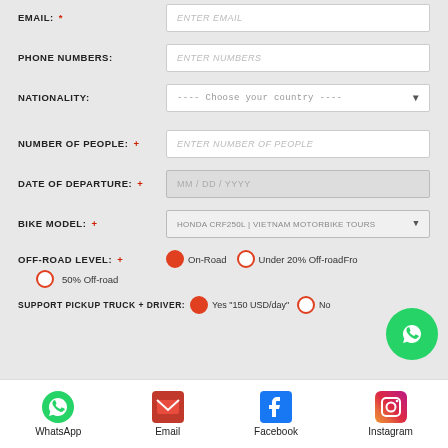EMAIL: * [ENTER EMAIL]
PHONE NUMBERS: [ENTER NUMBERS]
NATIONALITY: ---- Choose your country ----
NUMBER OF PEOPLE: * [ENTER NUMBER OF PEOPLE]
DATE OF DEPARTURE: * MM / DD / YYYY
BIKE MODEL: * HONDA CRF250L | VIETNAM MOTORBIKE TOURS
OFF-ROAD LEVEL: * On-Road (selected), Under 20% Off-road, 50% Off-road
SUPPORT PICKUP TRUCK + DRIVER: Yes '150 USD/day' (selected), No
[Figure (infographic): WhatsApp floating button (green circle with phone icon)]
WhatsApp | Email | Facebook | Instagram